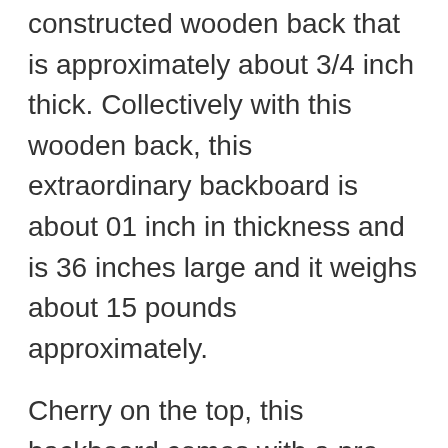constructed wooden back that is approximately about 3/4 inch thick. Collectively with this wooden back, this extraordinary backboard is about 01 inch in thickness and is 36 inches large and it weighs about 15 pounds approximately.
Cherry on the top, this backboard comes with a pre-installed recessed dartboard mounting bracket for an increased amount of steadiness during the game. You don't have to look for mounting points on the dart board backboard as it comes with two steel reinforced mounting points.  It also includes 03 inches screws for the help and anchors for trouble-free fitting or wall mounting. As well, it comes with easy detailed